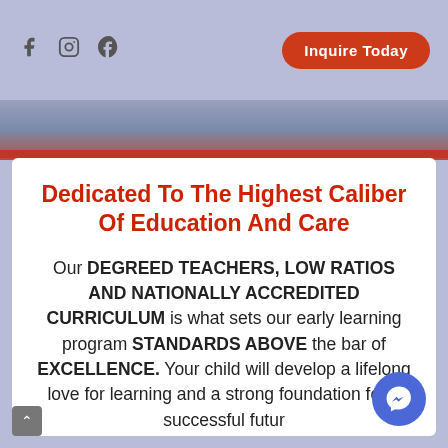f  ⊙  ⊕   Inquire Today
[Figure (photo): Photo strip showing children/caregivers, partially visible, with a dark red/maroon bar at the bottom]
Dedicated To The Highest Caliber Of Education And Care
Our DEGREED TEACHERS, LOW RATIOS AND NATIONALLY ACCREDITED CURRICULUM is what sets our early learning program STANDARDS ABOVE the bar of EXCELLENCE. Your child will develop a lifelong love for learning and a strong foundation for a successful futur